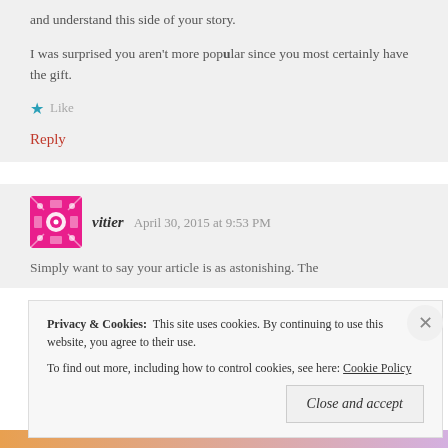and understand this side of your story.
I was surprised you aren't more popular since you most certainly have the gift.
Like
Reply
vitier   April 30, 2015 at 9:53 PM
Simply want to say your article is as astonishing. The
Privacy & Cookies:  This site uses cookies. By continuing to use this website, you agree to their use.
To find out more, including how to control cookies, see here: Cookie Policy
Close and accept